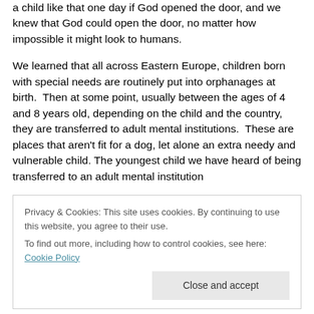a child like that one day if God opened the door, and we knew that God could open the door, no matter how impossible it might look to humans.
We learned that all across Eastern Europe, children born with special needs are routinely put into orphanages at birth. Then at some point, usually between the ages of 4 and 8 years old, depending on the child and the country, they are transferred to adult mental institutions. These are places that aren't fit for a dog, let alone an extra needy and vulnerable child. The youngest child we have heard of being transferred to an adult mental institution
Privacy & Cookies: This site uses cookies. By continuing to use this website, you agree to their use.
To find out more, including how to control cookies, see here: Cookie Policy
We also learned that children who are severely neglected